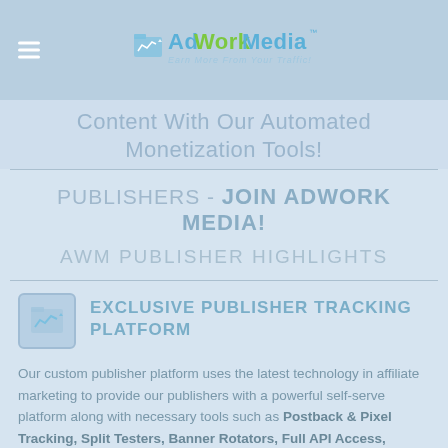AdWork Media - Earn More From Your Traffic!
Content With Our Automated Monetization Tools!
PUBLISHERS - JOIN ADWORK MEDIA!
AWM PUBLISHER HIGHLIGHTS
EXCLUSIVE PUBLISHER TRACKING PLATFORM
Our custom publisher platform uses the latest technology in affiliate marketing to provide our publishers with a powerful self-serve platform along with necessary tools such as Postback & Pixel Tracking, Split Testers, Banner Rotators, Full API Access, Content/File/Link Lockers and much more! Interact with an intuitive